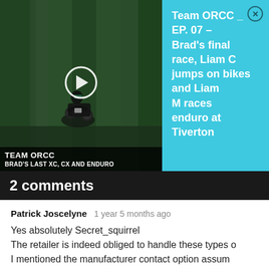[Figure (screenshot): Video thumbnail showing a mountain biker in a forest with play button overlay and labels 'TEAM ORCC' and 'BRAD'S LAST XC, CX AND ENDURO']
Team ORCC _ EP. 07 – Brad's final race, Liam C jumps on bikes and Liam M races enduro at Tiverton
2 comments
Patrick Joscelyne   1 year 5 months ago
Yes absolutely Secret_squirrel
The retailer is indeed obliged to handle these types o
I mentioned the manufacturer contact option assum
you'd like a new bag and quickly, but if you want you
money back or prefer to just deal with your retailer t
that is of course your right to do so.
Further info can be found on the Which website if
in any doubt.
Secret_squirrel   1 year 5 months ago